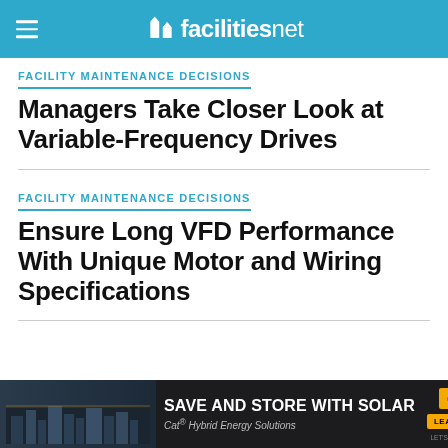facilitiesnet
FACILITY MAINTENANCE DECISIONS
Managers Take Closer Look at Variable-Frequency Drives
FACILITY MAINTENANCE DECISIONS
Ensure Long VFD Performance With Unique Motor and Wiring Specifications
[Figure (other): Advertisement banner: SAVE AND STORE WITH SOLAR — Cat Hybrid Energy Solutions, CAT logo, LEARN MORE button]